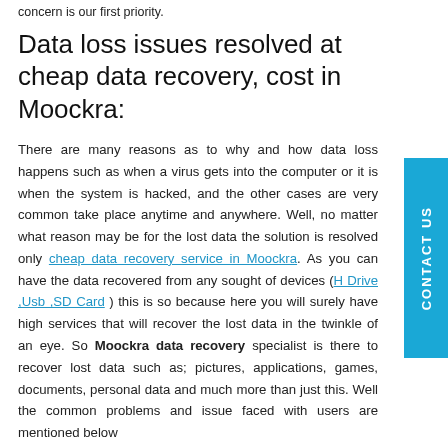concern is our first priority.
Data loss issues resolved at cheap data recovery, cost in Moockra:
There are many reasons as to why and how data loss happens such as when a virus gets into the computer or it is when the system is hacked, and the other cases are very common take place anytime and anywhere. Well, no matter what reason may be for the lost data the solution is resolved only cheap data recovery service in Moockra. As you can have the data recovered from any sought of devices (H Drive ,Usb ,SD Card ) this is so because here you will surely have high services that will recover the lost data in the twinkle of an eye. So Moockra data recovery specialist is there to recover lost data such as; pictures, applications, games, documents, personal data and much more than just this. Well the common problems and issue faced with users are mentioned below